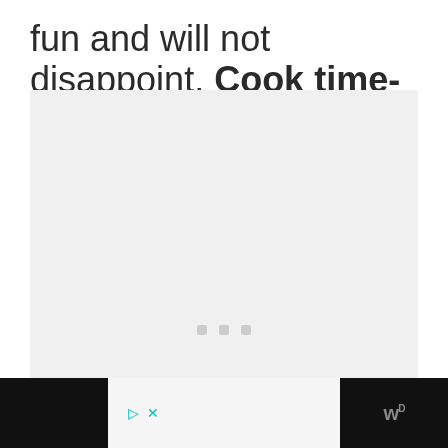fun and will not disappoint. Cook time- 15 mins
[Figure (other): Large light gray image placeholder with three small gray dots in the center]
Ad bar with play/close controls and logo